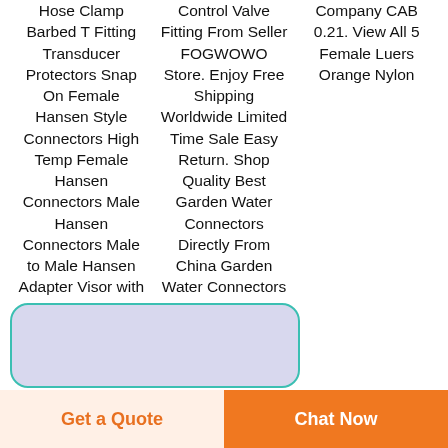Hose Clamp Barbed T Fitting Transducer Protectors Snap On Female Hansen Style Connectors High Temp Female Hansen Connectors Male Hansen Connectors Male to Male Hansen Adapter Visor with Safety
Control Valve Fitting From Seller FOGWOWO Store. Enjoy Free Shipping Worldwide Limited Time Sale Easy Return. Shop Quality Best Garden Water Connectors Directly From China Garden Water Connectors
Company CAB 0.21. View All 5 Female Luers Orange Nylon
[Figure (other): Partial product card with teal/cyan border and lavender fill, rounded rectangle shape, partially visible at bottom of page]
Get a Quote
Chat Now